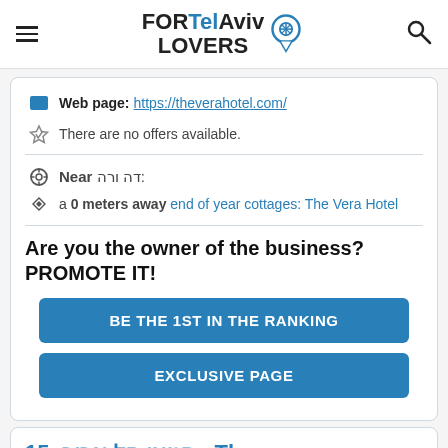FORTelAviv LOVERS
Web page: https://theverahotel.com/
There are no offers available.
Near דה ורה:
a 0 meters away end of year cottages: The Vera Hotel
Are you the owner of the business? PROMOTE IT!
BE THE 1ST IN THE RANKING
EXCLUSIVE PAGE
15. סטאי תל אביב - The